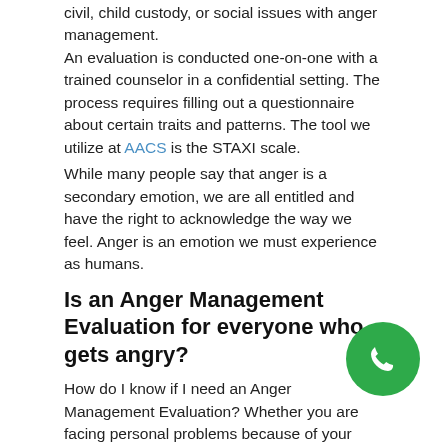civil, child custody, or social issues with anger management. An evaluation is conducted one-on-one with a trained counselor in a confidential setting. The process requires filling out a questionnaire about certain traits and patterns. The tool we utilize at AACS is the STAXI scale.
While many people say that anger is a secondary emotion, we are all entitled and have the right to acknowledge the way we feel. Anger is an emotion we must experience as humans.
Is an Anger Management Evaluation for everyone who gets angry?
How do I know if I need an Anger Management Evaluation? Whether you are facing personal problems because of your anger issues or you have had legal consequences stemming from your anger, you may want to consider consulting with a professional about how to deal with your anger.
For an expedited appointment, please click this link https://www.aacscounseling.com/contact-us/
An evaluation is a simple process of answering a questionnaire and meeting with a professionally licensed counselor to determine your needs. Each individual has a unique personality. Our approach